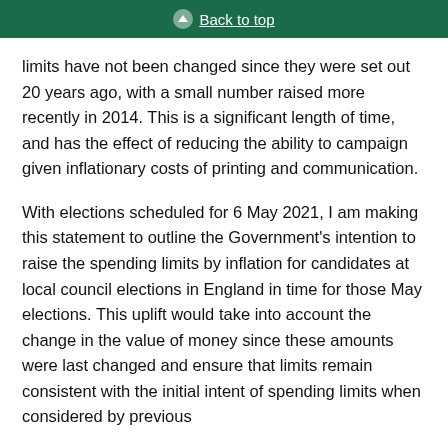Back to top
limits have not been changed since they were set out 20 years ago, with a small number raised more recently in 2014. This is a significant length of time, and has the effect of reducing the ability to campaign given inflationary costs of printing and communication.
With elections scheduled for 6 May 2021, I am making this statement to outline the Government’s intention to raise the spending limits by inflation for candidates at local council elections in England in time for those May elections. This uplift would take into account the change in the value of money since these amounts were last changed and ensure that limits remain consistent with the initial intent of spending limits when considered by previous